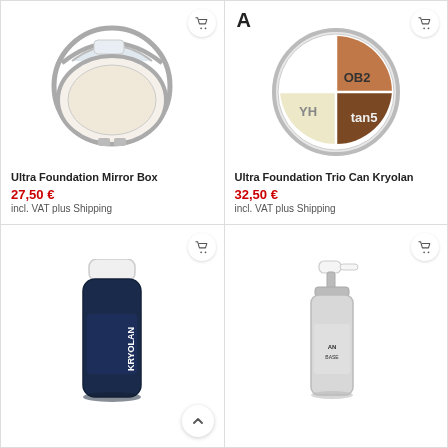[Figure (photo): Ultra Foundation Mirror Box compact powder product photo]
Ultra Foundation Mirror Box
27,50 €
incl. VAT plus Shipping
[Figure (photo): Ultra Foundation Trio Can Kryolan product photo showing circular palette with OB2, YH, and tan5 shades]
Ultra Foundation Trio Can Kryolan
32,50 €
incl. VAT plus Shipping
[Figure (photo): Kryolan D Vaporizer spray product in dark blue bottle]
[Figure (photo): Kryolan Ultra Base foundation pump bottle in silver/white]